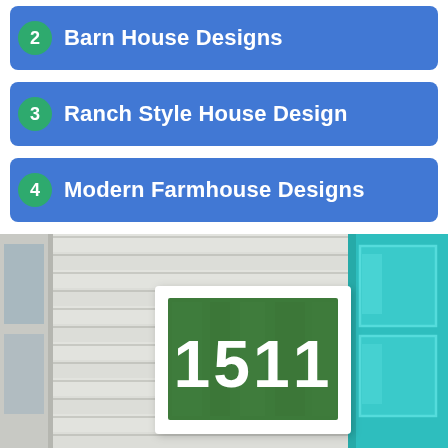2 Barn House Designs
3 Ranch Style House Design
4 Modern Farmhouse Designs
[Figure (photo): Exterior of a house showing white vinyl siding, a teal/turquoise front door on the right, a partial window frame on the left, and a white square address plaque mounted on the siding displaying the number 1511 in white text on a green mossy background.]